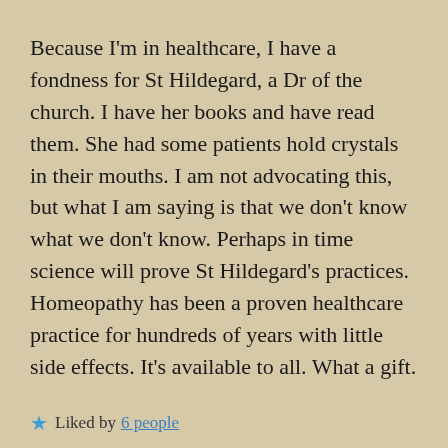Because I'm in healthcare, I have a fondness for St Hildegard, a Dr of the church. I have her books and have read them. She had some patients hold crystals in their mouths. I am not advocating this, but what I am saying is that we don't know what we don't know. Perhaps in time science will prove St Hildegard's practices. Homeopathy has been a proven healthcare practice for hundreds of years with little side effects. It's available to all. What a gift.
★ Liked by 6 people